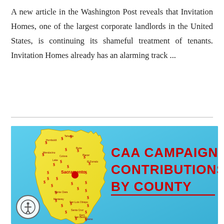A new article in the Washington Post reveals that Invitation Homes, one of the largest corporate landlords in the United States, is continuing its shameful treatment of tenants. Invitation Homes already has an alarming track ...
[Figure (map): Infographic showing a map of California with dollar signs marking various counties, titled 'CAA CAMPAIGN CONTRIBUTIONS BY COUNTY' in bold red text on a blue background.]